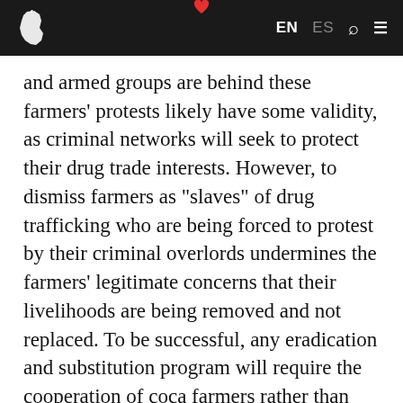EN  ES
and armed groups are behind these farmers' protests likely have some validity, as criminal networks will seek to protect their drug trade interests. However, to dismiss farmers as "slaves" of drug trafficking who are being forced to protest by their criminal overlords undermines the farmers' legitimate concerns that their livelihoods are being removed and not replaced. To be successful, any eradication and substitution program will require the cooperation of coca farmers rather than their stigmatization.
This is a key point of the agreement struck between the FARC and the government, who